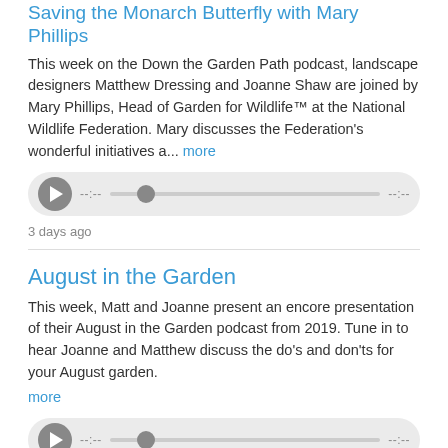Saving the Monarch Butterfly with Mary Phillips
This week on the Down the Garden Path podcast, landscape designers Matthew Dressing and Joanne Shaw are joined by Mary Phillips, Head of Garden for Wildlife™ at the National Wildlife Federation. Mary discusses the Federation's wonderful initiatives a... more
[Figure (other): Audio player widget with play button, progress bar with knob, time indicators showing --:-- on left and --:-- on right]
3 days ago
August in the Garden
This week, Matt and Joanne present an encore presentation of their August in the Garden podcast from 2019. Tune in to hear Joanne and Matthew discuss the do's and don'ts for your August garden. more
[Figure (other): Audio player widget with play button, progress bar with knob, time indicators showing --:-- on left and --:-- on right]
24 days ago